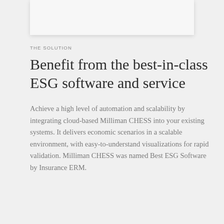[Figure (photo): Partial image/screenshot visible at top of page, light gray background box with shadow]
THE SOLUTION
Benefit from the best-in-class ESG software and service
Achieve a high level of automation and scalability by integrating cloud-based Milliman CHESS into your existing systems. It delivers economic scenarios in a scalable environment, with easy-to-understand visualizations for rapid validation. Milliman CHESS was named Best ESG Software by Insurance ERM.